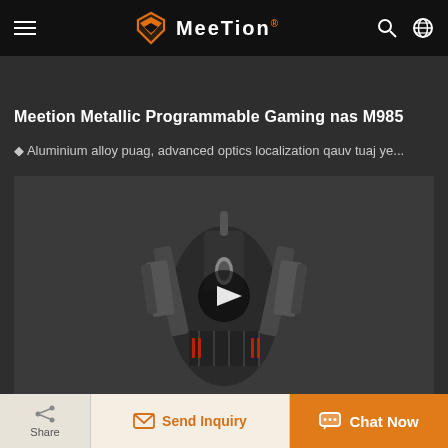MEETION
Meetion Metallic Programmable Gaming nas M985
◆ Aluminium alloy puag, advanced optics localization qauv tuaj ye...
[Figure (photo): Top-down view of a Meetion M985 gaming mouse with metallic body, RGB lighting, and adjustable weight system, shown in dark background with a play button overlay]
Share | Send Inquiry | Chat Now